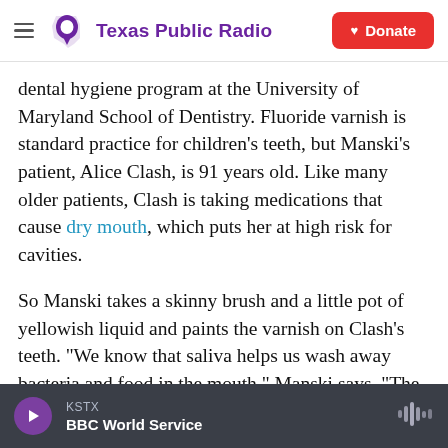Texas Public Radio | Donate
dental hygiene program at the University of Maryland School of Dentistry. Fluoride varnish is standard practice for children's teeth, but Manski's patient, Alice Clash, is 91 years old. Like many older patients, Clash is taking medications that cause dry mouth, which puts her at high risk for cavities.
So Manski takes a skinny brush and a little pot of yellowish liquid and paints the varnish on Clash's teeth. "We know that saliva helps us wash away bacteria and food in the mouth," Manski says. "The fluoride varnish will help that."
KSTX | BBC World Service